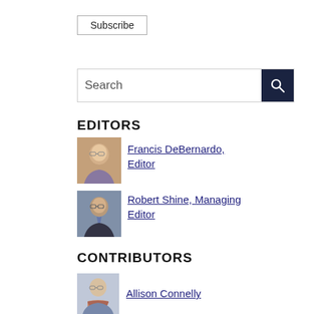Subscribe
[Figure (other): Search bar with dark blue search button and magnifying glass icon]
EDITORS
[Figure (photo): Portrait photo of Francis DeBernardo, Editor — older man with glasses]
Francis DeBernardo, Editor
[Figure (photo): Portrait photo of Robert Shine, Managing Editor — younger man with glasses]
Robert Shine, Managing Editor
CONTRIBUTORS
[Figure (photo): Portrait photo of Allison Connelly — woman with glasses]
Allison Connelly